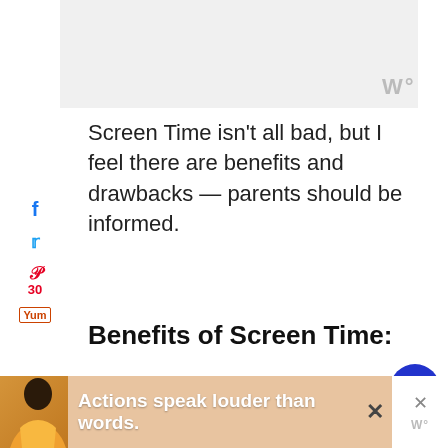[Figure (logo): Gray stylized 'W' logo in top right corner of banner]
Screen Time isn't all bad, but I feel there are benefits and drawbacks — parents should be informed.
Benefits of Screen Time:
Screen time can help develop some physical and cognitive skills (Psychology Today)¹
Playing with tablets and iPhones...
[Figure (infographic): Social share sidebar with Facebook, Twitter, Pinterest (30), and Yummly icons on the left side]
[Figure (infographic): Right side action buttons: heart/like button (dark blue circle), count 31, share button]
[Figure (infographic): Bottom advertisement banner with person silhouette and text 'Actions speak louder than words.']